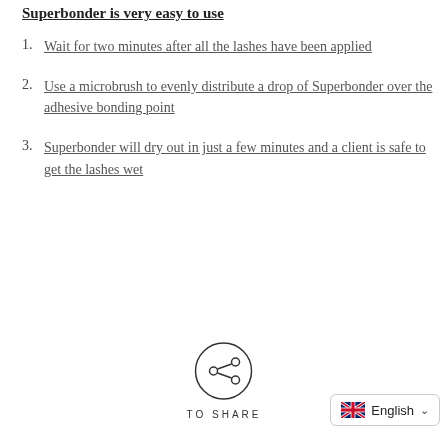Superbonder is very easy to use
Wait for two minutes after all the lashes have been applied
Use a microbrush to evenly distribute a drop of Superbonder over the adhesive bonding point
Superbonder will dry out in just a few minutes and a client is safe to get the lashes wet
[Figure (illustration): Share button: circular icon with share/network symbol and label TO SHARE below it]
[Figure (illustration): Language selector button showing UK flag and text English with dropdown chevron]